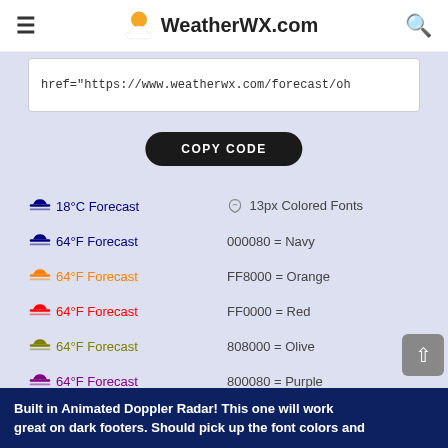WeatherWX.com
href="https://www.weatherwx.com/forecast/oh
COPY CODE
18°C Forecast   13px Colored Fonts
64°F Forecast   000080 = Navy
64°F Forecast   FF8000 = Orange
64°F Forecast   FF0000 = Red
64°F Forecast   808000 = Olive
64°F Forecast   800080 = Purple
64°F Forecast   008080 = Teal
64°F Forecast   FF00FF = Fuchsia
Built in Animated Doppler Radar! This one will work great on dark footers. Should pick up the font colors and